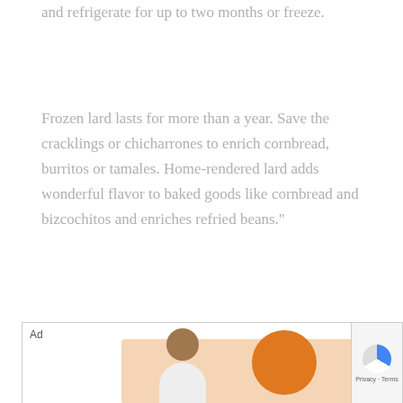and refrigerate for up to two months or freeze.
Frozen lard lasts for more than a year. Save the cracklings or chicharrones to enrich cornbread, burritos or tamales. Home-rendered lard adds wonderful flavor to baked goods like cornbread and bizcochitos and enriches refried beans."
[Figure (photo): Advertisement banner showing a person in a white shirt looking down, with orange circle and peach-colored geometric shapes in the background. Ad label and close controls visible in top corners. reCAPTCHA badge visible on right side.]